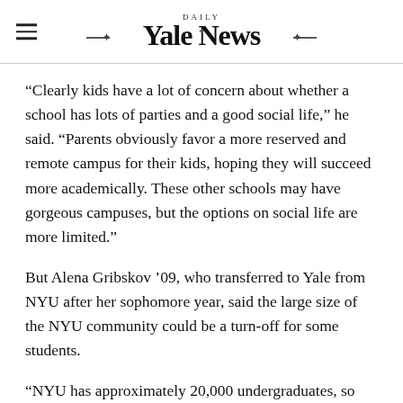Yale Daily News
“Clearly kids have a lot of concern about whether a school has lots of parties and a good social life,” he said. “Parents obviously favor a more reserved and remote campus for their kids, hoping they will succeed more academically. These other schools may have gorgeous campuses, but the options on social life are more limited.”
But Alena Gribskov ’09, who transferred to Yale from NYU after her sophomore year, said the large size of the NYU community could be a turn-off for some students.
“NYU has approximately 20,000 undergraduates, so it’s a huge school, and the administration is really impersonal,” she said, ‘and the fact that they’re the best…’